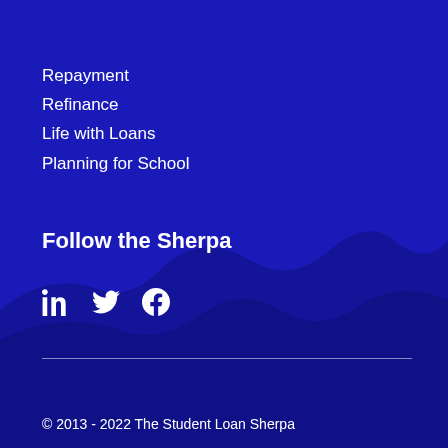Repayment
Refinance
Life with Loans
Planning for School
Follow the Sherpa
[Figure (illustration): Social media icons: LinkedIn, Twitter, Facebook]
© 2013 - 2022 The Student Loan Sherpa